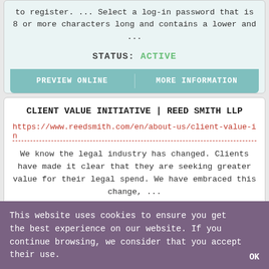to register. ... Select a log-in password that is 8 or more characters long and contains a lower and ...
STATUS: ACTIVE
PREVIEW ONLINE
MORE INFORMATION
CLIENT VALUE INITIATIVE | REED SMITH LLP
https://www.reedsmith.com/en/about-us/client-value-in
We know the legal industry has changed. Clients have made it clear that they are seeking greater value for their legal spend. We have embraced this change, ...
STATUS: ACTIVE
This website uses cookies to ensure you get the best experience on our website. If you continue browsing, we consider that you accept their use.
OK